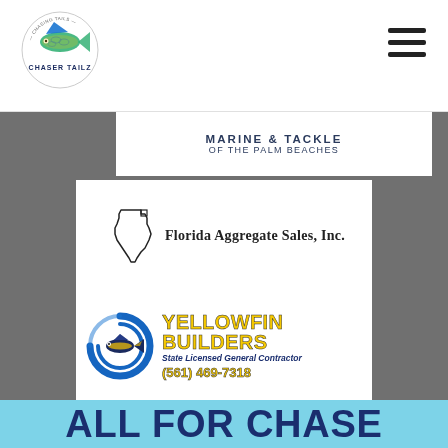[Figure (logo): Chaser Tailz fishing logo — colorful fish with blue/green scales above the text CHASER TAILZ]
[Figure (other): Hamburger menu icon (three horizontal lines) in top right corner]
MARINE & TACKLE
OF THE PALM BEACHES
[Figure (logo): Florida Aggregate Sales, Inc. logo — outline of Florida state with text FLORIDA AGGREGATE SALES, INC.]
[Figure (logo): Yellowfin Builders logo — blue circle swoosh with yellowfin tuna fish, yellow bold text YELLOWFIN BUILDERS, subtitle State Licensed General Contractor, phone (561) 469-7318]
ALL FOR CHASE